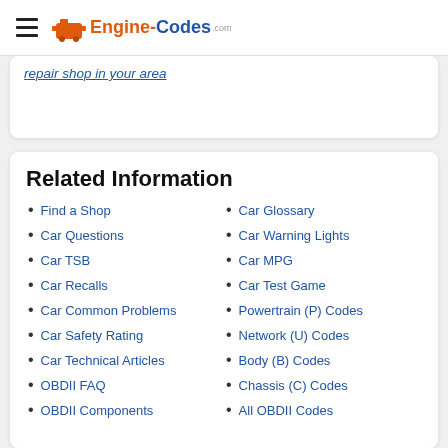Engine-Codes
repair shop in your area
Related Information
Find a Shop
Car Glossary
Car Questions
Car Warning Lights
Car TSB
Car MPG
Car Recalls
Car Test Game
Car Common Problems
Powertrain (P) Codes
Car Safety Rating
Network (U) Codes
Car Technical Articles
Body (B) Codes
OBDII FAQ
Chassis (C) Codes
OBDII Components
All OBDII Codes